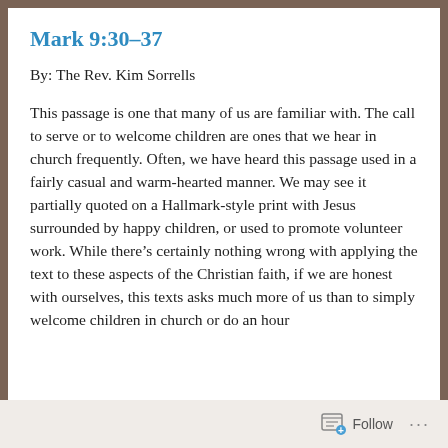Mark 9:30–37
By: The Rev. Kim Sorrells
This passage is one that many of us are familiar with. The call to serve or to welcome children are ones that we hear in church frequently. Often, we have heard this passage used in a fairly casual and warm-hearted manner. We may see it partially quoted on a Hallmark-style print with Jesus surrounded by happy children, or used to promote volunteer work. While there's certainly nothing wrong with applying the text to these aspects of the Christian faith, if we are honest with ourselves, this texts asks much more of us than to simply welcome children in church or do an hour
Follow ...